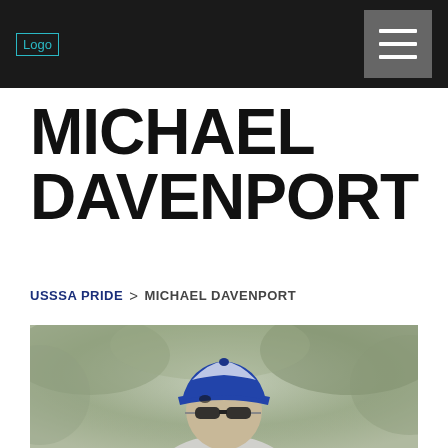Logo
MICHAEL DAVENPORT
USSSA PRIDE  >  MICHAEL DAVENPORT
[Figure (photo): A person wearing a blue and white baseball cap with sunglasses, photographed outdoors with a blurred green background]